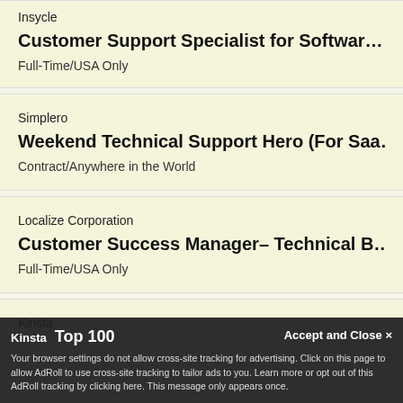Insycle — Customer Support Specialist for Software — Full-Time/USA Only
Simplero — Weekend Technical Support Hero (For Saa...) — Contract/Anywhere in the World
Localize Corporation — Customer Success Manager– Technical B... — Full-Time/USA Only
Kinsta — Top 100 — ...Engineer – The Ameri...
Your browser settings do not allow cross-site tracking for advertising. Click on this page to allow AdRoll to use cross-site tracking to tailor ads to you. Learn more or opt out of this AdRoll tracking by clicking here. This message only appears once.